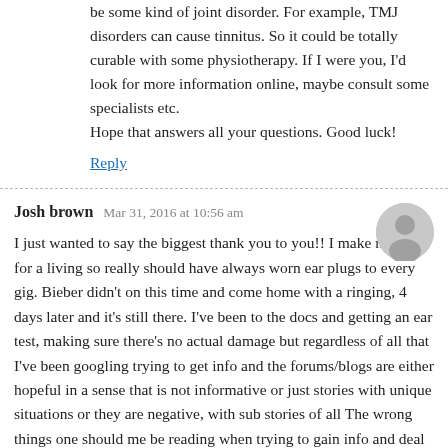be some kind of joint disorder. For example, TMJ disorders can cause tinnitus. So it could be totally curable with some physiotherapy. If I were you, I'd look for more information online, maybe consult some specialists etc.
Hope that answers all your questions. Good luck!
Reply
Josh brown   Mar 31, 2016 at 10:56 am
I just wanted to say the biggest thank you to you!! I make music for a living so really should have always worn ear plugs to every gig. Bieber didn't on this time and come home with a ringing, 4 days later and it's still there. I've been to the docs and getting an ear test, making sure there's no actual damage but regardless of all that I've been googling trying to get info and the forums/blogs are either hopeful in a sense that is not informative or just stories with unique situations or they are negative, with sub stories of all The wrong things one should me be reading when trying to gain info and deal with the onset of tinnitus… Yet your blog was realistic, informative and everything was